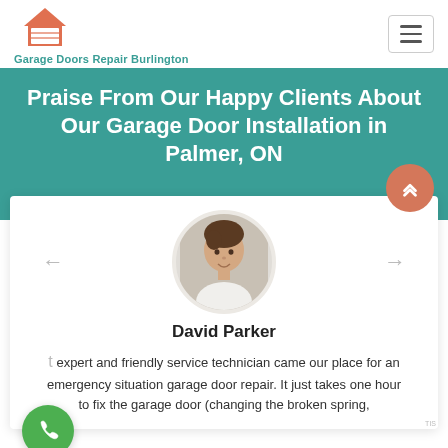Garage Doors Repair Burlington
Praise From Our Happy Clients About Our Garage Door Installation in Palmer, ON
David Parker
expert and friendly service technician came our place for an emergency situation garage door repair. It just takes one hour to fix the garage door (changing the broken spring,